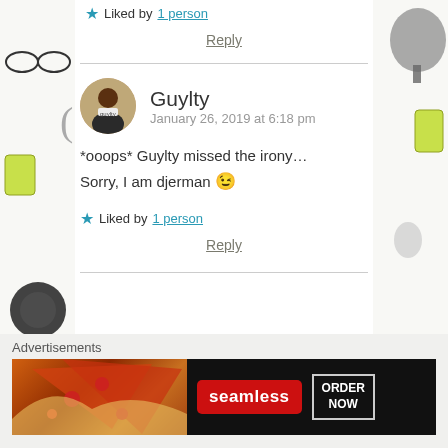★ Liked by 1 person
Reply
Guylty
January 26, 2019 at 6:18 pm
*ooops* Guylty missed the irony… Sorry, I am djerman 😉
★ Liked by 1 person
Reply
Advertisements
[Figure (screenshot): Seamless food delivery advertisement banner with pizza image, red Seamless logo, and ORDER NOW button on dark background]